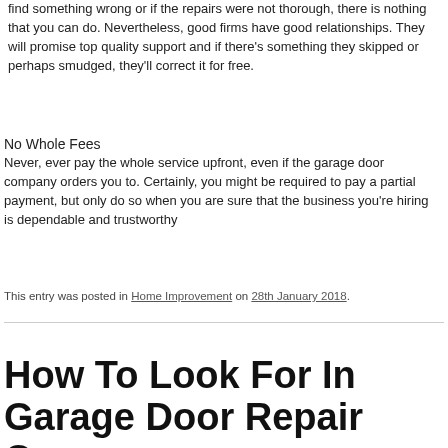find something wrong or if the repairs were not thorough, there is nothing that you can do. Nevertheless, good firms have good relationships. They will promise top quality support and if there's something they skipped or perhaps smudged, they'll correct it for free.
No Whole Fees
Never, ever pay the whole service upfront, even if the garage door company orders you to. Certainly, you might be required to pay a partial payment, but only do so when you are sure that the business you're hiring is dependable and trustworthy
This entry was posted in Home Improvement on 28th January 2018.
How To Look For In Garage Door Repair Company